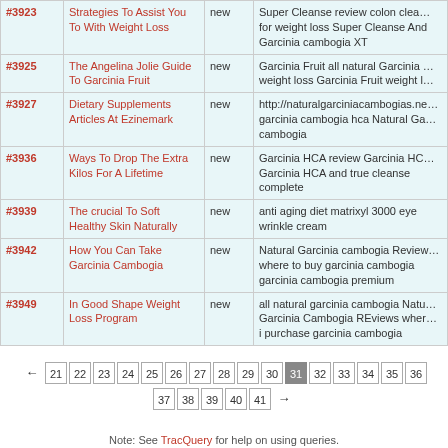| # | Title | Status | Description |
| --- | --- | --- | --- |
| #3923 | Strategies To Assist You To With Weight Loss | new | Super Cleanse review colon clea… for weight loss Super Cleanse And Garcinia cambogia XT |
| #3925 | The Angelina Jolie Guide To Garcinia Fruit | new | Garcinia Fruit all natural Garcinia … weight loss Garcinia Fruit weight l… |
| #3927 | Dietary Supplements Articles At Ezinemark | new | http://naturalgarciniacambogias.ne… garcinia cambogia hca Natural Ga… cambogia |
| #3936 | Ways To Drop The Extra Kilos For A Lifetime | new | Garcinia HCA review Garcinia HC… Garcinia HCA and true cleanse complete |
| #3939 | The crucial To Soft Healthy Skin Naturally | new | anti aging diet matrixyl 3000 eye wrinkle cream |
| #3942 | How You Can Take Garcinia Cambogia | new | Natural Garcinia cambogia Review… where to buy garcinia cambogia garcinia cambogia premium |
| #3949 | In Good Shape Weight Loss Program | new | all natural garcinia cambogia Natu… Garcinia Cambogia REviews wher… i purchase garcinia cambogia |
← 21 22 23 24 25 26 27 28 29 30 31 32 33 34 35 36 37 38 39 40 41 →
Note: See TracQuery for help on using queries.